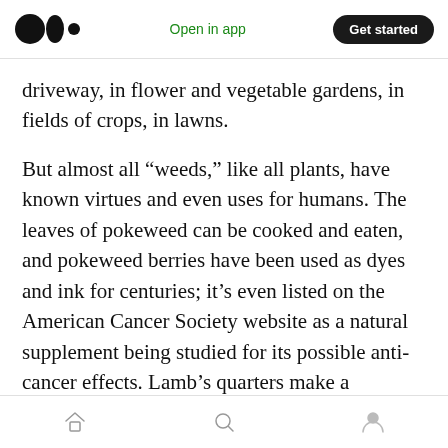Medium logo | Open in app | Get started
driveway, in flower and vegetable gardens, in fields of crops, in lawns.
But almost all “weeds,” like all plants, have known virtues and even uses for humans. The leaves of pokeweed can be cooked and eaten, and pokeweed berries have been used as dyes and ink for centuries; it’s even listed on the American Cancer Society website as a natural supplement being studied for its possible anti-cancer effects. Lamb’s quarters make a nutritious spinach substitute, raw or cooked. Purslane is high in vitamin C and used for tart salads; you can buy
Home | Search | Profile